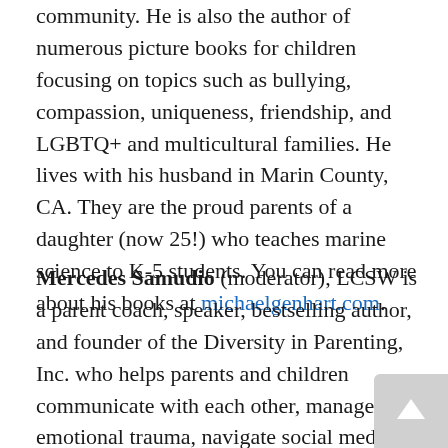community. He is also the author of numerous picture books for children focusing on topics such as bullying, compassion, uniqueness, friendship, and LGBTQ+ and multicultural families. He lives with his husband in Marin County, CA. They are the proud parents of a daughter (now 25!) who teaches marine science to K-5 students. You can read more about his books at michaelgenhart.com.
Mercedes Samudio (moderator), LCSW is a parent coach, speaker, bestselling author, and founder of the Diversity in Parenting, Inc. who helps parents and children communicate with each other, manage emotional trauma, navigate social media and technology together, and develop healthy parent-child relationships. Mercedes started the #EndParentShaming movement as well as